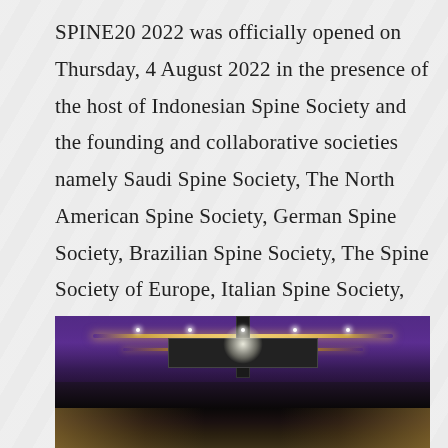SPINE20 2022 was officially opened on Thursday, 4 August 2022 in the presence of the host of Indonesian Spine Society and the founding and collaborative societies namely Saudi Spine Society, The North American Spine Society, German Spine Society, Brazilian Spine Society, The Spine Society of Europe, Italian Spine Society, and Japanese Society for Spine Surgery & [...]
08 August 2022
[Figure (photo): Interior photo of a large conference hall or ballroom with purple ambient lighting, illuminated ceiling with gold/yellow strip lights, a central truss/rigging structure with lights, and warm golden side lighting along the bottom.]